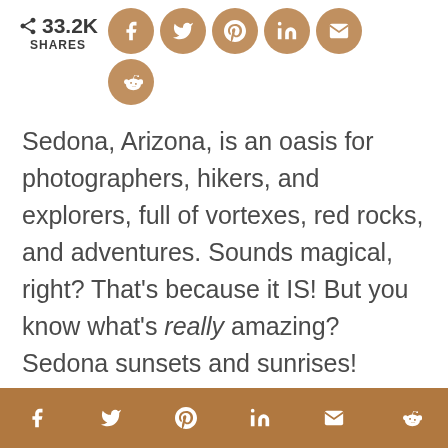[Figure (infographic): Social share count showing 33.2K shares with share arrow icon, and social media icons (Facebook, Twitter, Pinterest, LinkedIn, Email, Reddit) as tan/brown circles]
Sedona, Arizona, is an oasis for photographers, hikers, and explorers, full of vortexes, red rocks, and adventures. Sounds magical, right? That's because it IS! But you know what's really amazing? Sedona sunsets and sunrises!
[Figure (infographic): Brown bottom bar with social media icons: Facebook, Twitter, Pinterest, LinkedIn, Email, Reddit in white]